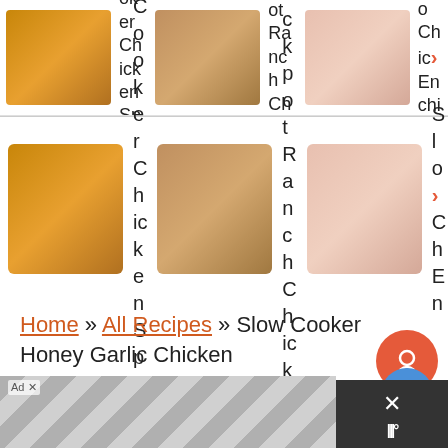[Figure (screenshot): Top carousel with food recipe thumbnails: Slow Cooker Chicken Spaghetti, Crockpot Ranch Chicken..., Slow Coo Chic... Enchilada...]
[Figure (screenshot): Second carousel with food recipe thumbnails: Slow Cooker Chicken Spaghetti, Crockpot Ranch Chicken..., Slo...Ch...En]
Home » All Recipes » Slow Cooker Honey Garlic Chicken
Slow Cooker Honey Garlic Chic...